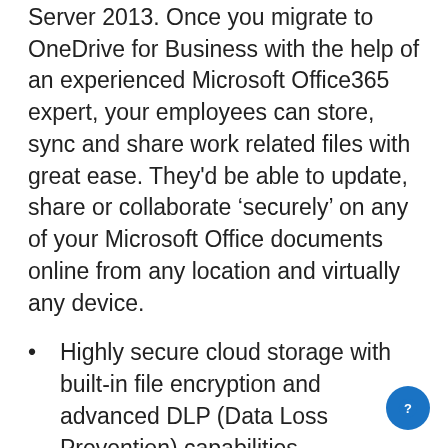Server 2013. Once you migrate to OneDrive for Business with the help of an experienced Microsoft Office365 expert, your employees can store, sync and share work related files with great ease. They'd be able to update, share or collaborate 'securely' on any of your Microsoft Office documents online from any location and virtually any device.
Highly secure cloud storage with built-in file encryption and advanced DLP (Data Loss Prevention) capabilities
Sync and share business data on the move with PC/Mac or Android/iOS/Windows devices
Share files securely with coworkers or